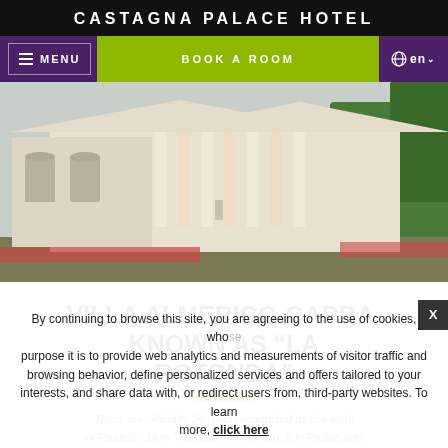CASTAGNA PALACE HOTEL
[Figure (screenshot): Navigation bar with hamburger menu icon, MENU text, BOOK A ROOM green button, and globe/language selector showing 'en']
[Figure (photo): Photograph of Villa Almerico-Capra (La Rotonda) - a neoclassical building with columns and steps, surrounded by greenery]
VILLA ALMERICO-CAPRA, KNOWN AS "LA ROTONDA"
There are officially 24 villas recognised as the work of Palladio: 16 in Vicenza, 3 in Treviso, 2 in Padua and 1 respectively in Rovigo, Verona and Venice. Amongst all
By continuing to browse this site, you are agreeing to the use of cookies, whose purpose it is to provide web analytics and measurements of visitor traffic and browsing behavior, define personalized services and offers tailored to your interests, and share data with, or redirect users from, third-party websites. To learn more, click here